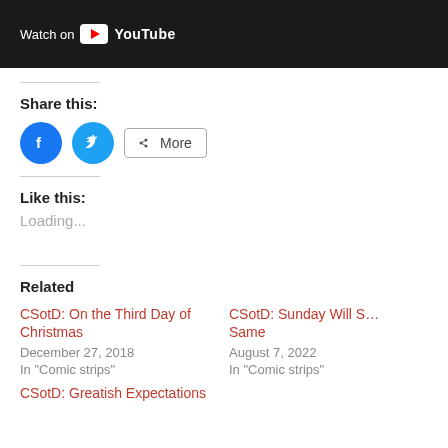[Figure (screenshot): Dark video thumbnail bar with 'Watch on YouTube' button in white text with YouTube logo]
Share this:
[Figure (other): Social share buttons: Facebook (blue circle), Twitter (blue circle), and More button]
Like this:
Loading...
Related
CSotD: On the Third Day of Christmas
December 27, 2018
In "Comic strips"
CSotD: Sunday Will S… Same
August 7, 2022
In "Comic strips"
CSotD: Greatish Expectations